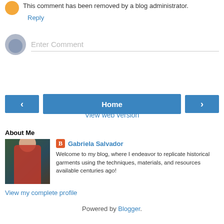This comment has been removed by a blog administrator.
Reply
Enter Comment
[Figure (other): Navigation buttons: left arrow, Home, right arrow]
View web version
About Me
Gabriela Salvador
[Figure (photo): Profile photo of Gabriela Salvador wearing a red cape with a dog]
Welcome to my blog, where I endeavor to replicate historical garments using the techniques, materials, and resources available centuries ago!
View my complete profile
Powered by Blogger.